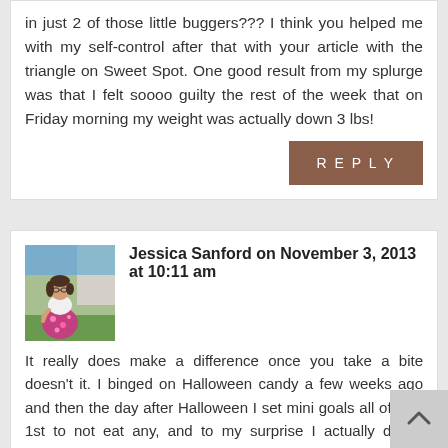in just 2 of those little buggers??? I think you helped me with my self-control after that with your article with the triangle on Sweet Spot. One good result from my splurge was that I felt soooo guilty the rest of the week that on Friday morning my weight was actually down 3 lbs!
REPLY
Jessica Sanford on November 3, 2013 at 10:11 am
[Figure (photo): Profile photo of Jessica Sanford, a woman in a floral dress standing outdoors]
It really does make a difference once you take a bite doesn't it. I binged on Halloween candy a few weeks ago and then the day after Halloween I set mini goals all of Nov 1st to not eat any, and to my surprise I actually did it. Yesterday however was much harder as I thought I would allow myself a few pieces, because, you know, it's a treat